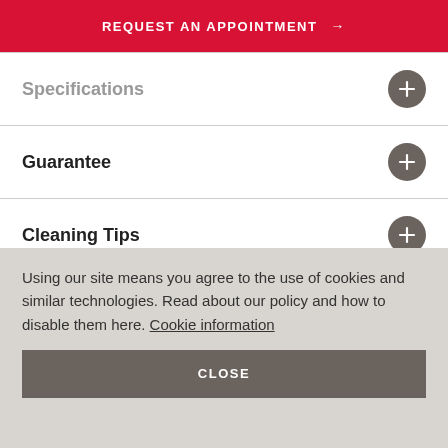REQUEST AN APPOINTMENT →
Specifications
Guarantee
Cleaning Tips
Child Safety
FAQ's
Using our site means you agree to the use of cookies and similar technologies. Read about our policy and how to disable them here. Cookie information
CLOSE